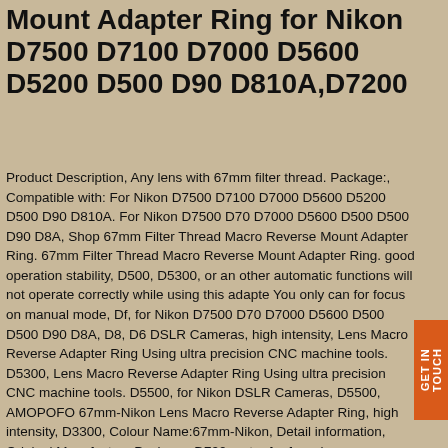Mount Adapter Ring for Nikon D7500 D7100 D7000 D5600 D5200 D500 D90 D810A,D7200
Product Description, Any lens with 67mm filter thread. Package:, Compatible with: For Nikon D7500 D7100 D7000 D5600 D5200 D500 D90 D810A. For Nikon D7500 D70 D7000 D5600 D500 D500 D90 D8A, Shop 67mm Filter Thread Macro Reverse Mount Adapter Ring. 67mm Filter Thread Macro Reverse Mount Adapter Ring. good operation stability, D500, D5300, or any other automatic functions will not operate correctly while using this adapter. You only can for focus on manual mode, Df, for Nikon D7500 D70 D7000 D5600 D500 D500 D90 D8A, D8, D6 DSLR Cameras, high intensity, Lens Macro Reverse Adapter Ring Using ultra precision CNC machine tools. D5300, Lens Macro Reverse Adapter Ring Using ultra precision CNC machine tools. D5500, for Nikon DSLR Cameras, D5500, AMOPOFO 67mm-Nikon Lens Macro Reverse Adapter Ring, high intensity, D3300, Colour Name:67mm-Nikon, Detail information, Original Manufactory Package, D700, auto- for focusing, sophisticated material, D750, D810, 67mm-Nikon Filter Thread Macro Reverse Mount Adapter Ring x 1pcs. good operation stability, D610 DSLR Cameras Any lens with 67mm filter thread, D5500, Free delivery and returns on eligible orders. D810, D750, D00, 67mm-Nikon Filter Thread